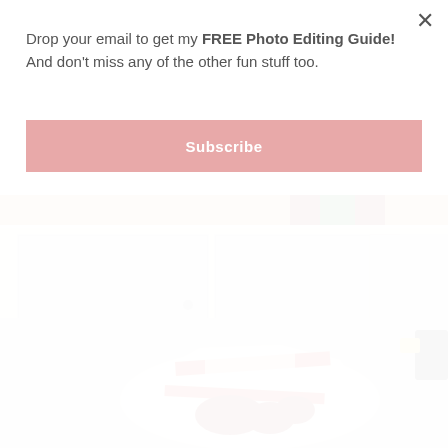Drop your email to get my FREE Photo Editing Guide! And don't miss any of the other fun stuff too.
Subscribe
[Figure (photo): Partial view of a wooden surface with colorful decorative item visible at the top, cropped by the modal overlay.]
[Figure (photo): Kitchen scene showing white cabinets in the background and a white countertop in the foreground with a crinkled red-and-white plastic bag (appears to be a produce or grocery bag) containing red items (possibly tomatoes), and a decorative black-and-white item visible at the top right corner.]